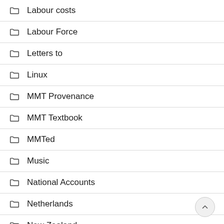Labour costs
Labour Force
Letters to
Linux
MMT Provenance
MMT Textbook
MMTed
Music
National Accounts
Netherlands
New Zealand
Permaculture